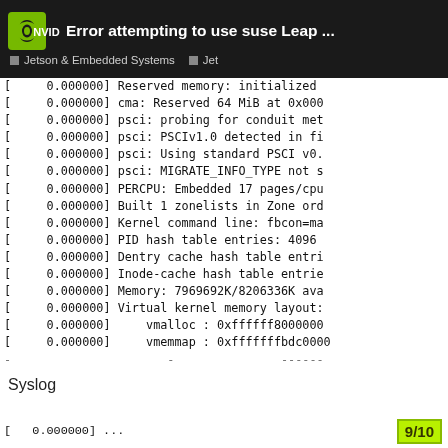[Figure (screenshot): NVIDIA forum header bar with green NVIDIA logo, title 'Error attempting to use suse Leap ...' and navigation items 'Jetson & Embedded Systems' and 'Jet']
[ 0.000000] Reserved memory: initialized
[ 0.000000] cma: Reserved 64 MiB at 0x000
[ 0.000000] psci: probing for conduit met
[ 0.000000] psci: PSCIv1.0 detected in fi
[ 0.000000] psci: Using standard PSCI v0.
[ 0.000000] psci: MIGRATE_INFO_TYPE not s
[ 0.000000] PERCPU: Embedded 17 pages/cpu
[ 0.000000] Built 1 zonelists in Zone ord
[ 0.000000] Kernel command line: fbcon=ma
[ 0.000000] PID hash table entries: 4096
[ 0.000000] Dentry cache hash table entri
[ 0.000000] Inode-cache hash table entrie
[ 0.000000] Memory: 7969692K/8206336K ava
[ 0.000000] Virtual kernel memory layout:
[ 0.000000]   vmalloc : 0xffffff8000000
[ 0.000000]   vmemmap : 0xfffffffbdc0000
Syslog
[ 0.000000] ...
9/10